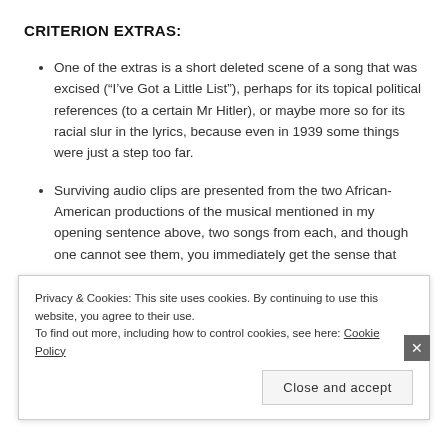CRITERION EXTRAS:
One of the extras is a short deleted scene of a song that was excised (“I’ve Got a Little List”), perhaps for its topical political references (to a certain Mr Hitler), or maybe more so for its racial slur in the lyrics, because even in 1939 some things were just a step too far.
Surviving audio clips are presented from the two African-American productions of the musical mentioned in my opening sentence above, two songs from each, and though one cannot see them, you immediately get the sense that
Privacy & Cookies: This site uses cookies. By continuing to use this website, you agree to their use.
To find out more, including how to control cookies, see here: Cookie Policy
Close and accept